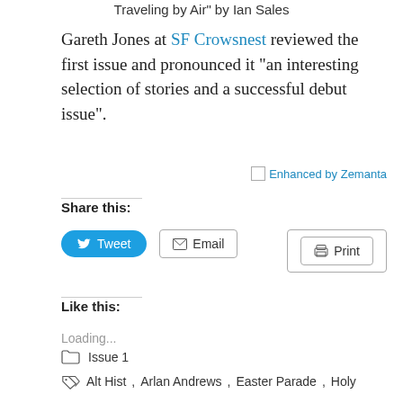Traveling by Air" by Ian Sales
Gareth Jones at SF Crowsnest reviewed the first issue and pronounced it “an interesting selection of stories and a successful debut issue”.
[Figure (other): Enhanced by Zemanta link with broken image icon]
Share this:
Tweet  Email  Print
Like this:
Loading...
Issue 1
Alt Hist, Arlan Andrews, Easter Parade, Holy